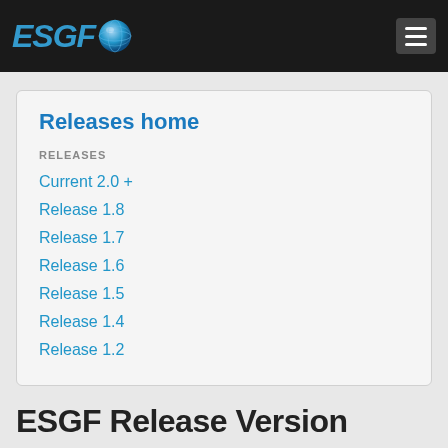ESGF
Releases home
RELEASES
Current 2.0 +
Release 1.8
Release 1.7
Release 1.6
Release 1.5
Release 1.4
Release 1.2
ESGF Release Version